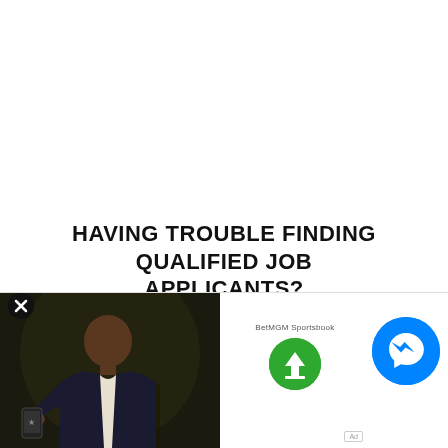HAVING TROUBLE FINDING QUALIFIED JOB APPLICANTS?
[Figure (infographic): Green rounded rectangle button with white bold text reading POST JOBS & CAREERS]
[Figure (photo): Bottom strip showing: a man in a suit holding a phone against a dark background (left), BetMGM Sportsbook logo with green download button (center), blue Facebook Messenger circle button (right), and an Ad tag label]